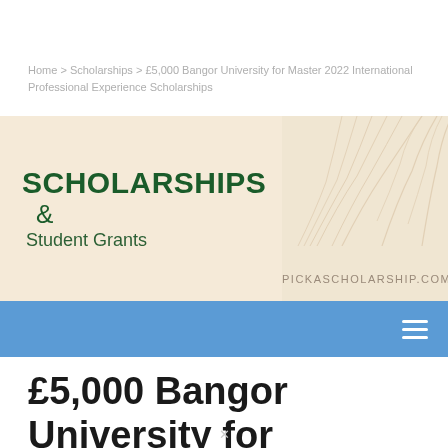Home > Scholarships > £5,000 Bangor University for Master 2022 International Professional Experience Scholarships
[Figure (logo): Scholarships & Student Grants banner with palm leaf decoration and pickascholarship.com website URL]
£5,000 Bangor University for